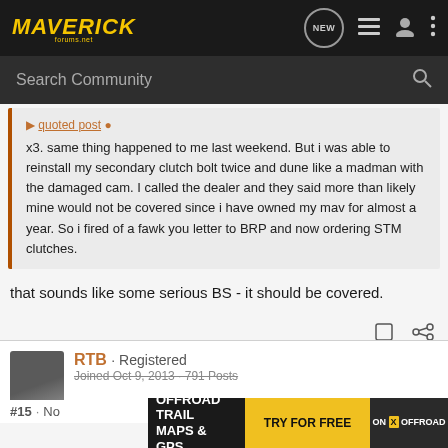MAVERICK forums.net — Search Community
x3. same thing happened to me last weekend. But i was able to reinstall my secondary clutch bolt twice and dune like a madman with the damaged cam. I called the dealer and they said more than likely mine would not be covered since i have owned my mav for almost a year. So i fired of a fawk you letter to BRP and now ordering STM clutches.
that sounds like some serious BS - it should be covered.
RTB · Registered
Joined Oct 9, 2013 · 791 Posts
#15 · No...
[Figure (screenshot): Advertisement banner: OFFROAD TRAIL MAPS & GPS — TRY FOR FREE — ON X OFFROAD]